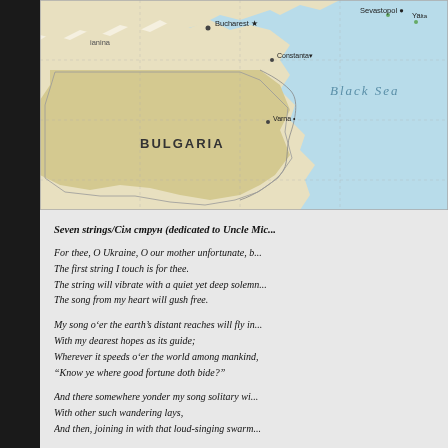[Figure (map): Partial map showing Bulgaria, Black Sea, Bucharest, Constanta, Varna, Sevastopol, Yalta labeled. Land in light beige/yellow, sea in light blue.]
Seven strings/Сім струн (dedicated to Uncle Mi...
For thee, O Ukraine, O our mother unfortunate, b...
The first string I touch is for thee.
The string will vibrate with a quiet yet deep solemn...
The song from my heart will gush free.

My song o'er the earth's distant reaches will fly in...
With my dearest hopes as its guide;
Wherever it speeds o'er the world among mankind,
"Know ye where good fortune doth bide?"

And there somewhere yonder my song solitary wi...
With other such wandering lays,
And then, joining in with that loud-singing swarm...